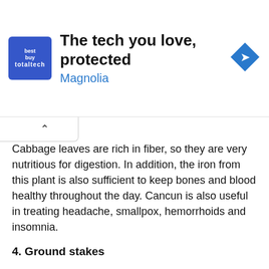[Figure (screenshot): Advertisement banner: blue square logo with 'totaltech' text, heading 'The tech you love, protected', subheading 'Magnolia' in blue, and a blue diamond-shaped navigation arrow icon on the right.]
Cabbage leaves are rich in fiber, so they are very nutritious for digestion. In addition, the iron from this plant is also sufficient to keep bones and blood healthy throughout the day. Cancun is also useful in treating headache, smallpox, hemorrhoids and insomnia.
4. Ground stakes
For a long time it was believed that this plant enhances vitality and stamina. You must have seen the health benefits of Pasak Bumi often, right? Basak Bumi is also beneficial for reducing stress and preventing premature aging.